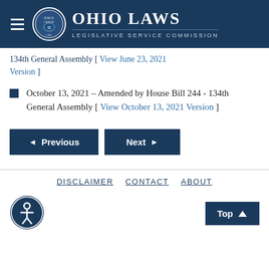Ohio Laws - Legislative Service Commission
134th General Assembly [ View June 23, 2021 Version ]
October 13, 2021 – Amended by House Bill 244 - 134th General Assembly [ View October 13, 2021 Version ]
Previous | Next
DISCLAIMER  CONTACT  ABOUT